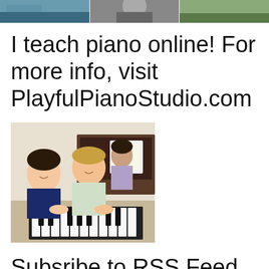[Figure (photo): Three thumbnail photos at the top of the page: a lake/outdoor scene, a person, and an outdoor/nature scene]
I teach piano online! For more info, visit PlayfulPianoStudio.com
[Figure (photo): Photo of two children and an adult smiling at a piano keyboard]
Subsribe to RSS Feed
[Figure (logo): Green RSS feed icon]